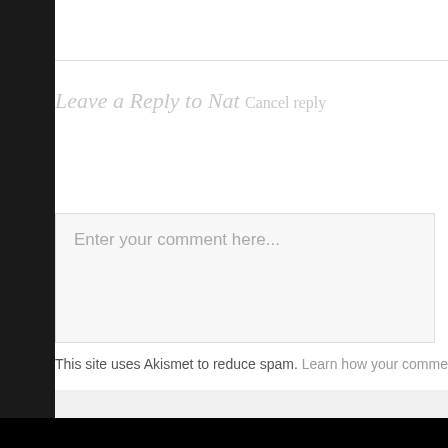Leave a Reply to Nat Cancel reply
Enter your comment here...
This site uses Akismet to reduce spam. Learn how your comment data is processed.
← The Ten Best EVERYBODY LOVES RAYMOND Episodes of Season Two
The Ten Best EVERYBODY LOVES RAYMOND Epi...